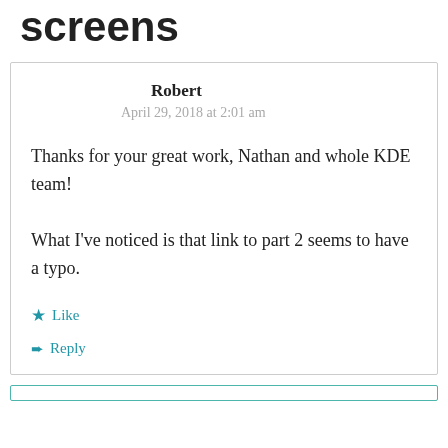screens
Robert
April 29, 2018 at 2:01 am

Thanks for your great work, Nathan and whole KDE team!

What I've noticed is that link to part 2 seems to have a typo.

Like

Reply